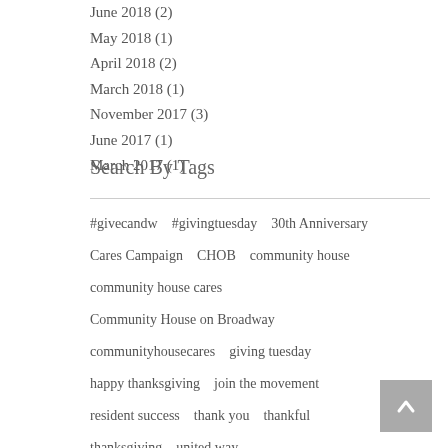June 2018 (2)
May 2018 (1)
April 2018 (2)
March 2018 (1)
November 2017 (3)
June 2017 (1)
March 2017 (1)
Search By Tags
#givecandw   #givingtuesday   30th Anniversary
Cares Campaign   CHOB   community house
community house cares
Community House on Broadway
communityhousecares   giving tuesday
happy thanksgiving   join the movement
resident success   thank you   thankful
thanksgiving   united way